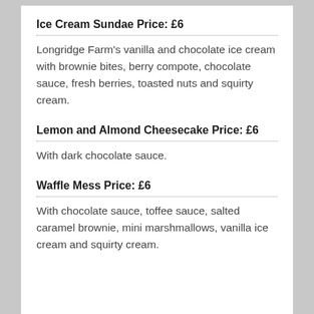Ice Cream Sundae Price: £6
Longridge Farm's vanilla and chocolate ice cream with brownie bites, berry compote, chocolate sauce, fresh berries, toasted nuts and squirty cream.
Lemon and Almond Cheesecake Price: £6
With dark chocolate sauce.
Waffle Mess Price: £6
With chocolate sauce, toffee sauce, salted caramel brownie, mini marshmallows, vanilla ice cream and squirty cream.